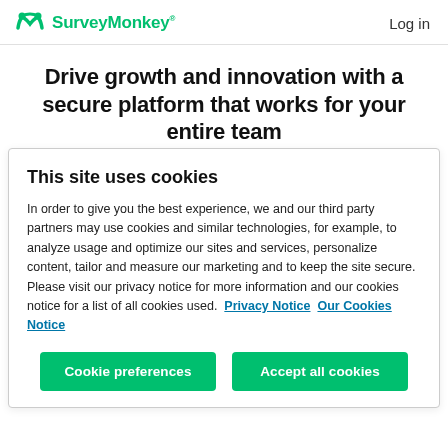SurveyMonkey  Log in
Drive growth and innovation with a secure platform that works for your entire team
This site uses cookies
In order to give you the best experience, we and our third party partners may use cookies and similar technologies, for example, to analyze usage and optimize our sites and services, personalize content, tailor and measure our marketing and to keep the site secure. Please visit our privacy notice for more information and our cookies notice for a list of all cookies used.  Privacy Notice  Our Cookies Notice
Cookie preferences
Accept all cookies